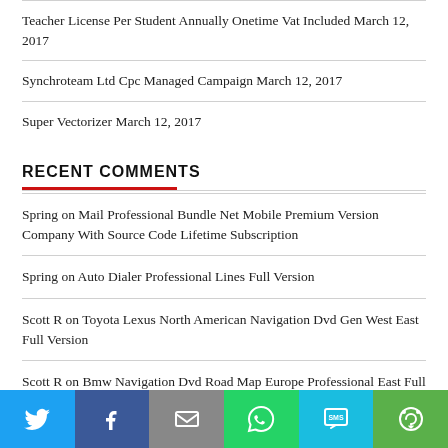Teacher License Per Student Annually Onetime Vat Included March 12, 2017
Synchroteam Ltd Cpc Managed Campaign March 12, 2017
Super Vectorizer March 12, 2017
RECENT COMMENTS
Spring on Mail Professional Bundle Net Mobile Premium Version Company With Source Code Lifetime Subscription
Spring on Auto Dialer Professional Lines Full Version
Scott R on Toyota Lexus North American Navigation Dvd Gen West East Full Version
Scott R on Bmw Navigation Dvd Road Map Europe Professional East Full Version
[Figure (infographic): Social share bar with Twitter, Facebook, Email, WhatsApp, SMS, and More buttons]